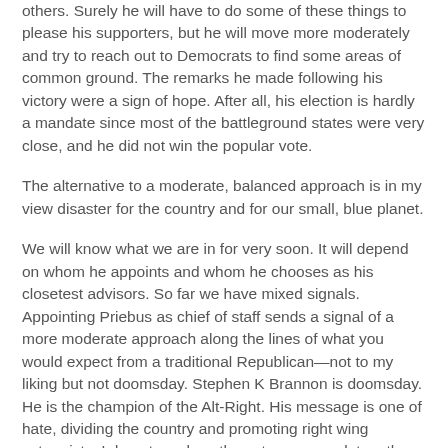others. Surely he will have to do some of these things to please his supporters, but he will move more moderately and try to reach out to Democrats to find some areas of common ground. The remarks he made following his victory were a sign of hope. After all, his election is hardly a mandate since most of the battleground states were very close, and he did not win the popular vote.
The alternative to a moderate, balanced approach is in my view disaster for the country and for our small, blue planet.
We will know what we are in for very soon. It will depend on whom he appoints and whom he chooses as his closetest advisors. So far we have mixed signals. Appointing Priebus as chief of staff sends a signal of a more moderate approach along the lines of what you would expect from a traditional Republican—not to my liking but not doomsday. Stephen K Brannon is doomsday. He is the champion of the Alt-Right. His message is one of hate, dividing the country and promoting right wing extremists. I do not see how these two can work together for very